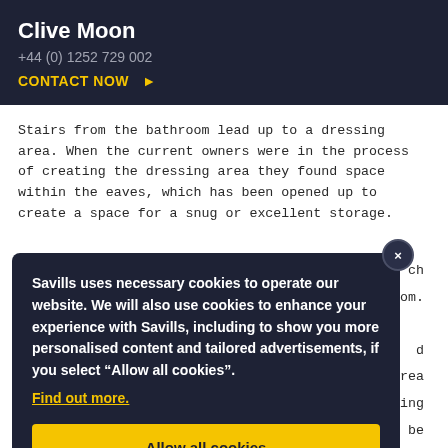Clive Moon
+44 (0) 1252 729 002
CONTACT NOW ▶
Stairs from the bathroom lead up to a dressing area. When the current owners were in the process of creating the dressing area they found space within the eaves, which has been opened up to create a space for a snug or excellent storage.
[Figure (screenshot): Cookie consent modal overlay with dark background, containing bold white text: 'Savills uses necessary cookies to operate our website. We will also use cookies to enhance your experience with Savills, including to show you more personalised content and tailored advertisements, if you select “Allow all cookies”. Find out more.' and a yellow 'Allow all cookies' button.]
...providing further storage.